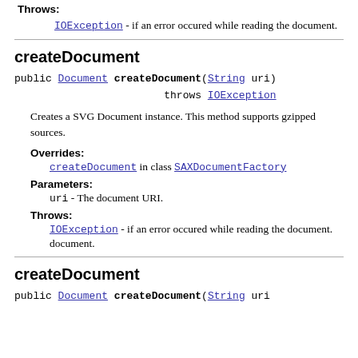Throws: IOException - if an error occured while reading the document.
createDocument
public Document createDocument(String uri)
                throws IOException
Creates a SVG Document instance. This method supports gzipped sources.
Overrides: createDocument in class SAXDocumentFactory
Parameters: uri - The document URI.
Throws: IOException - if an error occured while reading the document.
createDocument
public Document createDocument(String uri